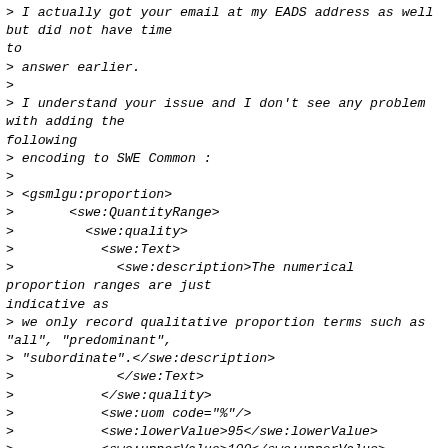> I actually got your email at my EADS address as well but did not have time
to
> answer earlier.
>
> I understand your issue and I don't see any problem with adding the
following
> encoding to SWE Common :
>
> <gsmlgu:proportion>
>       <swe:QuantityRange>
>         <swe:quality>
>           <swe:Text>
>             <swe:description>The numerical proportion ranges are just
indicative as
> we only record qualitative proportion terms such as
"all", "predominant",
> "subordinate".</swe:description>
>             </swe:Text>
>           </swe:quality>
>           <swe:uom code="%"/>
>           <swe:lowerValue>95</swe:lowerValue>
>           <swe:upperValue>100</swe:upperValue>
>       </swe:QuantityRange>
> </gsmlgu:proportion>
>
>
> However, this would have to be submitted as a change